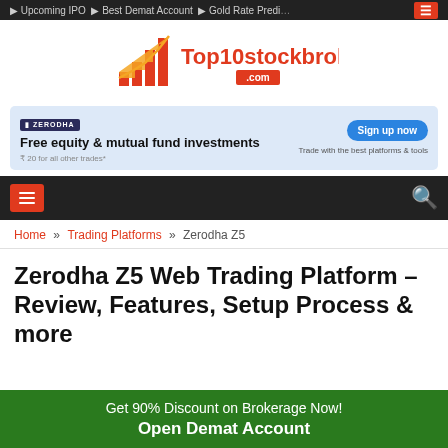Upcoming IPO · Best Demat Account · Gold Rate Prediction
[Figure (logo): Top10stockbroker.com logo with bar chart icon in orange/yellow]
[Figure (infographic): Zerodha ad banner: Free equity & mutual fund investments. ₹20 for all other trades*. Sign up now. Trade with the best platforms & tools.]
Navigation bar with hamburger menu and search icon
Home » Trading Platforms » Zerodha Z5
Zerodha Z5 Web Trading Platform – Review, Features, Setup Process & more
Get 90% Discount on Brokerage Now! Open Demat Account